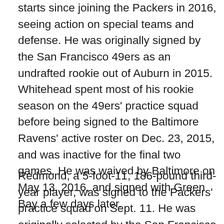Whitehead (5-11, 193), played in 10 games with two starts since joining the Packers in 2016, seeing action on special teams and defense. He was originally signed by the San Francisco 49ers as an undrafted rookie out of Auburn in 2015. Whitehead spent most of his rookie season on the 49ers' practice squad before being signed to the Baltimore Ravens' active roster on Dec. 23, 2015, and was inactive for the final two games. He was waived by Baltimore on May 13, 2016, and signed with Green Bay a few days later.
Redmond, a 5-foot-11, 186-pound third-year player, was signed to the Packers' practice squad on Sept. 11. He was originally selected by the San Francisco 49ers in the third round (No. 68 overall) of the 2016 NFL Draft out of Mississippi State. Redmond spent his entire rookie season on injured reserve with a knee injury